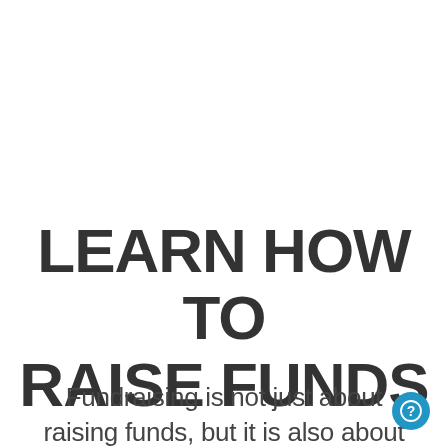LEARN HOW TO RAISE FUNDS
Fundraising is not just about raising funds, but it is also about